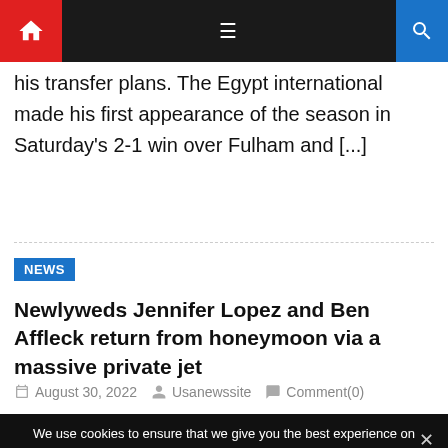Navigation bar with home icon, hamburger menu, and search icon
his transfer plans. The Egypt international made his first appearance of the season in Saturday's 2-1 win over Fulham and [...]
NEWS
Newlyweds Jennifer Lopez and Ben Affleck return from honeymoon via a massive private jet
August 30, 2022   Usanewssite   Comment(0)
We use cookies to ensure that we give you the best experience on our website. If you continue to use this site we will assume that you are happy with it.
Ok